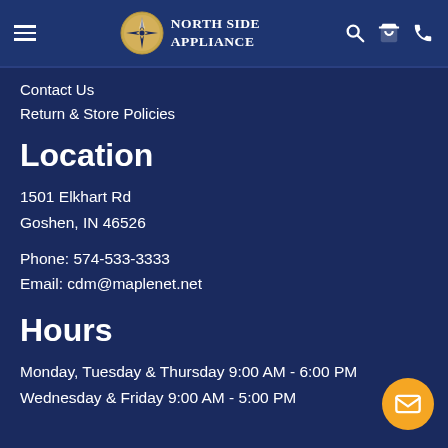North Side Appliance
Contact Us
Return & Store Policies
Location
1501 Elkhart Rd
Goshen, IN 46526
Phone: 574-533-3333
Email: cdm@maplenet.net
Hours
Monday, Tuesday & Thursday 9:00 AM - 6:00 PM
Wednesday & Friday 9:00 AM - 5:00 PM